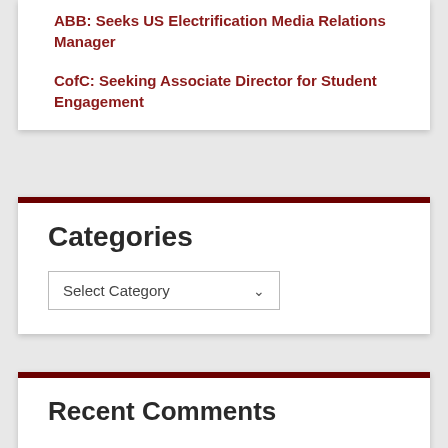ABB: Seeks US Electrification Media Relations Manager
CofC: Seeking Associate Director for Student Engagement
Categories
[Figure (screenshot): Select Category dropdown widget]
Recent Comments
Archives
[Figure (screenshot): Select Month dropdown widget]